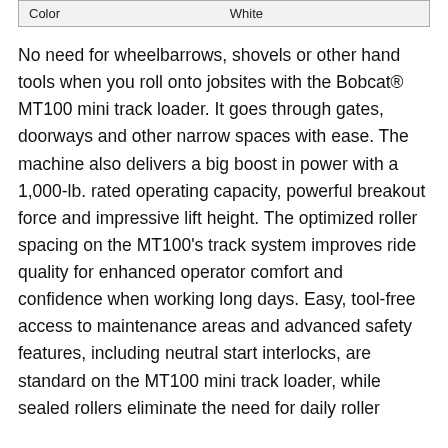| Color | White |
No need for wheelbarrows, shovels or other hand tools when you roll onto jobsites with the Bobcat® MT100 mini track loader. It goes through gates, doorways and other narrow spaces with ease. The machine also delivers a big boost in power with a 1,000-lb. rated operating capacity, powerful breakout force and impressive lift height. The optimized roller spacing on the MT100's track system improves ride quality for enhanced operator comfort and confidence when working long days. Easy, tool-free access to maintenance areas and advanced safety features, including neutral start interlocks, are standard on the MT100 mini track loader, while sealed rollers eliminate the need for daily roller